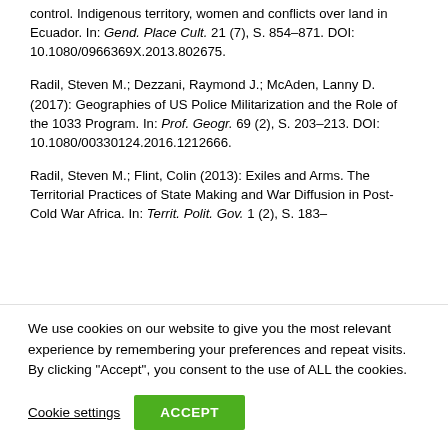control. Indigenous territory, women and conflicts over land in Ecuador. In: Gend. Place Cult. 21 (7), S. 854–871. DOI: 10.1080/0966369X.2013.802675.
Radil, Steven M.; Dezzani, Raymond J.; McAden, Lanny D. (2017): Geographies of US Police Militarization and the Role of the 1033 Program. In: Prof. Geogr. 69 (2), S. 203–213. DOI: 10.1080/00330124.2016.1212666.
Radil, Steven M.; Flint, Colin (2013): Exiles and Arms. The Territorial Practices of State Making and War Diffusion in Post-Cold War Africa. In: Territ. Polit. Gov. 1 (2), S. 183–
We use cookies on our website to give you the most relevant experience by remembering your preferences and repeat visits. By clicking "Accept", you consent to the use of ALL the cookies.